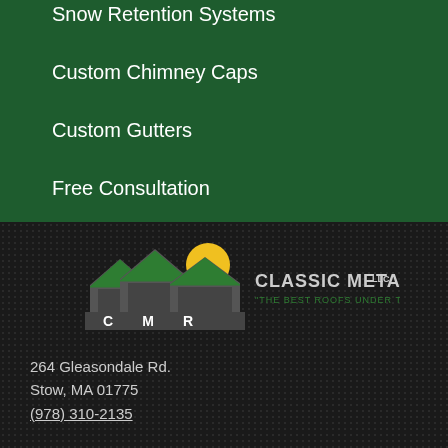Snow Retention Systems
Custom Chimney Caps
Custom Gutters
Free Consultation
[Figure (logo): Classic Metal Roofs LLC logo with CMR letters under green rooftops and a yellow sun, tagline: THE BEST ROOFS UNDER THE SUN.]
264 Gleasondale Rd.
Stow, MA 01775
(978) 310-2135